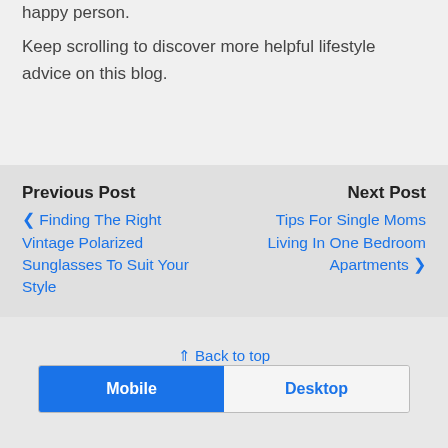happy person.
Keep scrolling to discover more helpful lifestyle advice on this blog.
Previous Post
‹ Finding The Right Vintage Polarized Sunglasses To Suit Your Style
Next Post
Tips For Single Moms Living In One Bedroom Apartments ›
⇑ Back to top
Mobile  Desktop